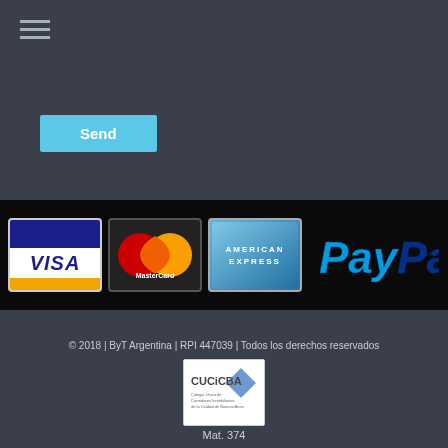[Figure (other): Hamburger menu icon with three horizontal lines]
[Figure (other): Blue Send button]
[Figure (other): Payment methods banner showing Visa, MasterCard, American Express, and PayPal logos on black background]
© 2018 | ByT Argentina | RPI 447039 | Todos los derechos reservados
[Figure (logo): CUCiCBA logo - Colegio Único de Corredores Inmobiliarios de la Ciudad de Buenos Aires]
Mat. 374